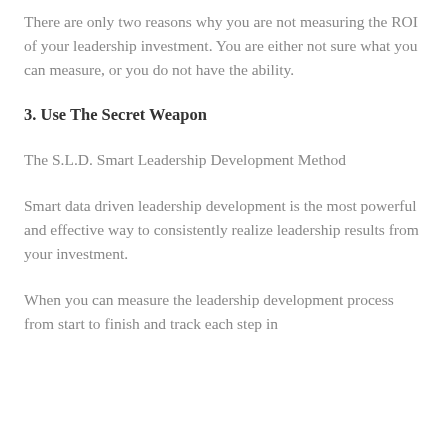There are only two reasons why you are not measuring the ROI of your leadership investment. You are either not sure what you can measure, or you do not have the ability.
3. Use The Secret Weapon
The S.L.D. Smart Leadership Development Method
Smart data driven leadership development is the most powerful and effective way to consistently realize leadership results from your investment.
When you can measure the leadership development process from start to finish and track each step in